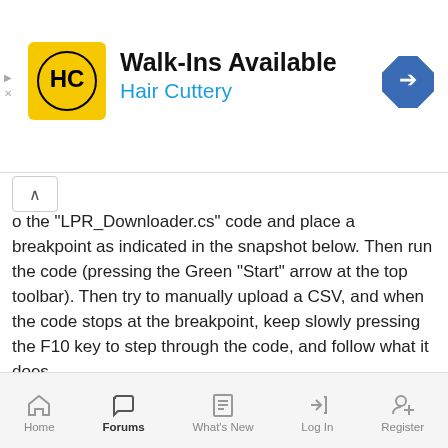[Figure (infographic): Hair Cuttery advertisement banner with logo, 'Walk-Ins Available' heading, and navigation arrow icon]
o the "LPR_Downloader.cs" code and place a breakpoint as indicated in the snapshot below. Then run the code (pressing the Green "Start" arrow at the top toolbar). Then try to manually upload a CSV, and when the code stops at the breakpoint, keep slowly pressing the F10 key to step through the code, and follow what it does.
[Figure (screenshot): Thumbnail screenshot of code editor showing LPR_Downloader.cs with breakpoint set]
1 of 34   Next ▶  ▶▶
You must log in or register to reply here.
Home   Forums   What's New   Log In   Register